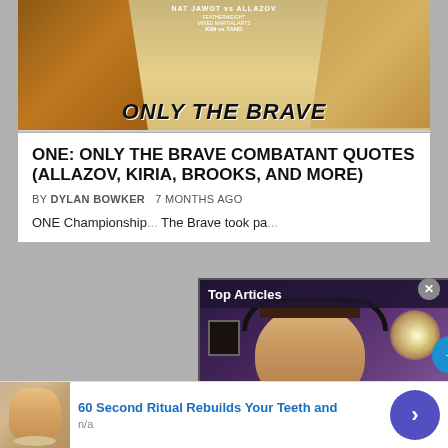[Figure (photo): ONE Championship 'Only The Brave' event poster showing fighters and text 'ONLY THE BRAVE']
ONE: ONLY THE BRAVE COMBATANT QUOTES (ALLAZOV, KIRIA, BROOKS, AND MORE)
BY DYLAN BOWKER   7 MONTHS AGO
ONE Championship... The Brave took pa...
[Figure (screenshot): Video overlay showing 'Top Articles' label with a man wearing headphones, pause/mute controls, and caption 'Brandon Lewis talks upcomin...' with navigation arrow button and glowing orb]
[Figure (photo): Kickboxing / Muay Thai article thumbnail]
[Figure (advertisement): Ad banner: '60 Second Ritual Rebuilds Your Teeth and' with thumbnail of elderly woman smiling and n/a source label, with blue navigation arrow]